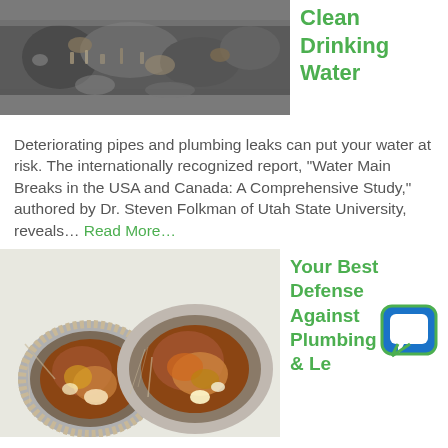[Figure (photo): Close-up photo of a deteriorating corroded pipe with rust and debris]
Clean Drinking Water
Deteriorating pipes and plumbing leaks can put your water at risk. The internationally recognized report, “Water Main Breaks in the USA and Canada: A Comprehensive Study,” authored by Dr. Steven Folkman of Utah State University, reveals… Read More…
[Figure (photo): Close-up photo of two heavily corroded and rusty pipe cross-sections showing severe internal buildup]
Your Best Defense Against Plumbing & Le...